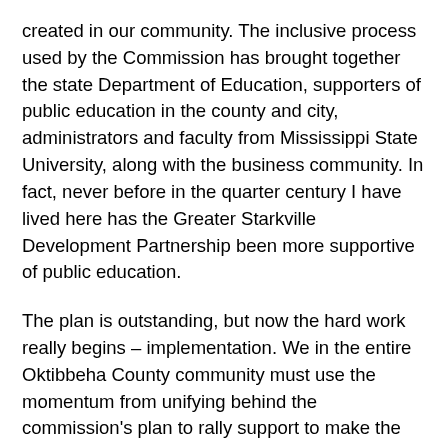created in our community.  The inclusive process used by the Commission has brought together the state Department of Education, supporters of public education in the county and city, administrators and faculty from Mississippi State University, along with the business community.  In fact, never before in the quarter century I have lived here has the Greater Starkville Development Partnership been more supportive of public education.
The plan is outstanding, but now the hard work really begins – implementation.  We in the entire Oktibbeha County community must use the momentum from unifying behind the commission's plan to rally support to make the plan a reality.
The Starkville School Board and the Mississippi Department of Education have endorsed the plan. The state legislature also must approve the plan.  And then everyone who cares about the future of Starkville, Oktibbeha County and Mississippi State University must stay committed.
We sit on the precipice of a momentous occasion when for the first